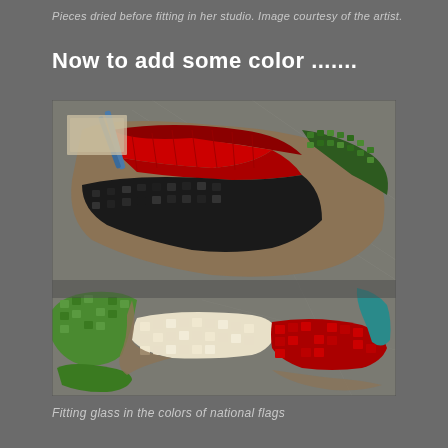Pieces dried before fitting in her studio. Image courtesy of the artist.
Now to add some color .......
[Figure (photo): Mosaic artwork pieces showing glass tiles in colors of national flags — red, black, green, white, and red sections — arranged on a work surface with pattern drawings underneath.]
Fitting glass in the colors of national flags